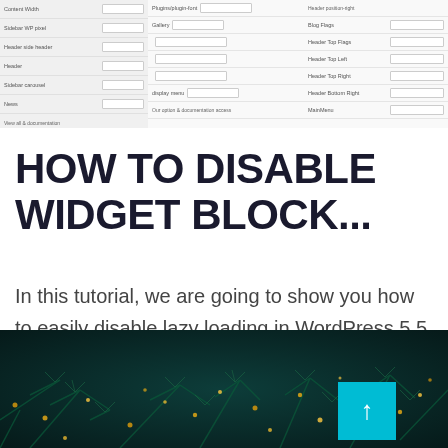[Figure (screenshot): WordPress admin UI panel screenshot showing settings rows with dropdown selectors for Blog Flags, Header Top Left, Header Top Right, Header Bottom Right, and similar options. Left panel shows additional settings rows.]
HOW TO DISABLE WIDGET BLOCK...
In this tutorial, we are going to show you how to easily disable lazy loading in WordPress 5.5 with just a few lines of ...
[Figure (photo): Dark teal/green photo of pine tree branches with small golden bokeh lights, resembling a Christmas tree background. A teal/cyan scroll-to-top button with an upward arrow is overlaid in the bottom right.]